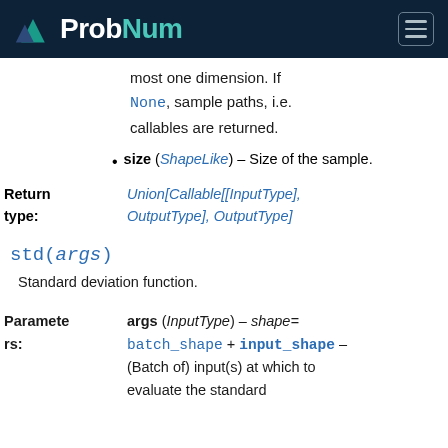ProbNum
most one dimension. If None, sample paths, i.e. callables are returned.
size (ShapeLike) – Size of the sample.
Return type: Union[Callable[[InputType], OutputType], OutputType]
std(args)
Standard deviation function.
Parameters: args (InputType) – shape= batch_shape + input_shape – (Batch of) input(s) at which to evaluate the standard